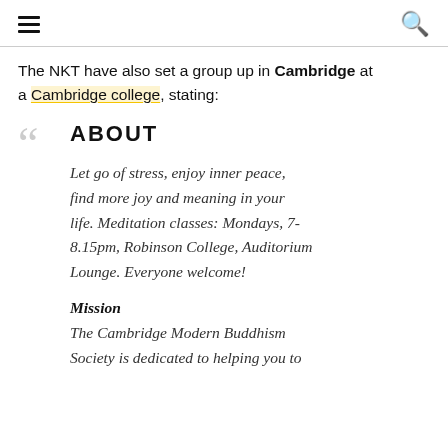[hamburger menu icon] [search icon]
The NKT have also set a group up in Cambridge at a Cambridge college, stating:
ABOUT
Let go of stress, enjoy inner peace, find more joy and meaning in your life. Meditation classes: Mondays, 7-8.15pm, Robinson College, Auditorium Lounge. Everyone welcome!
Mission
The Cambridge Modern Buddhism Society is dedicated to helping you to